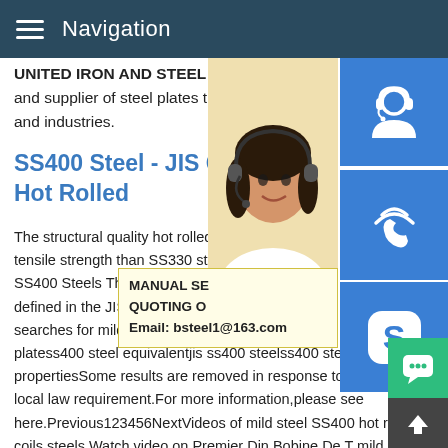Navigation
UNITED IRON AND STEEL LIMITED is the and supplier of steel plates that are used in and industries.
SS400 Steel - JIS G3101 General Structure Hot Rolled
The structural quality hot rolled SS400 steel has higher tensile strength than SS330 steel. Dimensions of Hot Rolled SS400 Steels The applicable thickness for this S400 steel as defined in the JIS 3101 starts from 6 mm to searches for mild steel SS400 hot rolled coils plates ss400 steel equivalent jis ss400 steel ss400 steel properties Some results are removed in response to a notice of local law requirement. For more information, please see here. Previous123456Next Videos of mild steel SS400 hot rolled coils steels Watch video on Premier Din Bobine De T mild steel SS400 hot rolled...
[Figure (photo): Customer service representative woman with headset smiling]
[Figure (infographic): Blue icon box with headset symbol for customer service]
[Figure (infographic): Blue icon box with phone/Skype call symbol]
[Figure (infographic): Blue icon box with Skype S logo symbol]
MANUAL SERVICE QUOTING ON Email: bsteel1@163.com
[Figure (infographic): Green chat bubble button at bottom right]
[Figure (infographic): Dark arrow-up back-to-top button at bottom right]